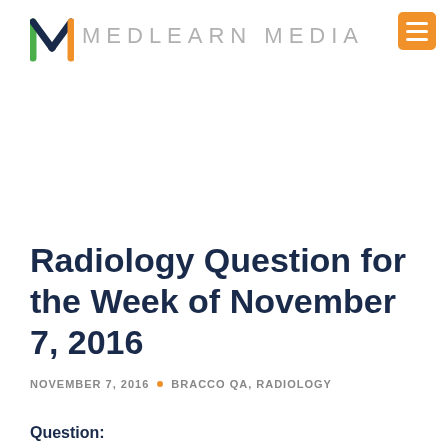MEDLEARN MEDIA
Radiology Question for the Week of November 7, 2016
NOVEMBER 7, 2016 · BRACCO QA, RADIOLOGY
Question: